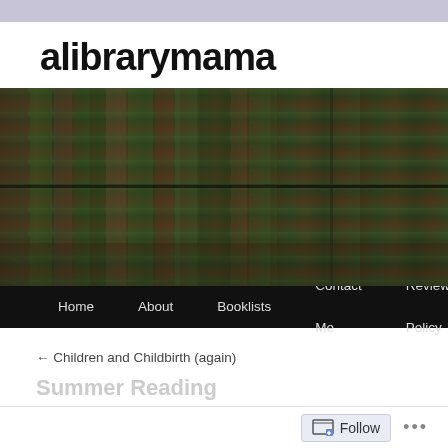alibrarymama
[Figure (photo): Header image showing a forest/bookshelf composite image — bookshelves overlaid with green fern/tree imagery giving an overgrown library appearance]
Home  About  Booklists  Contact Me  Review Policy
← Children and Childbirth (again)
Follow  ...